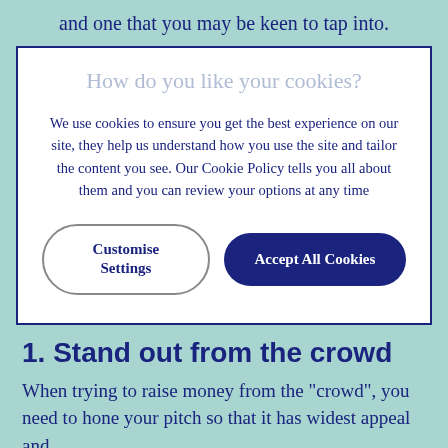and one that you may be keen to tap into.
[Figure (screenshot): Cookie consent modal dialog with title 'How do you like your cookies?', body text about cookie usage policy, and two buttons: 'Customise Settings' (outline style) and 'Accept All Cookies' (dark blue filled).]
1. Stand out from the crowd
When trying to raise money from the "crowd", you need to hone your pitch so that it has widest appeal and...